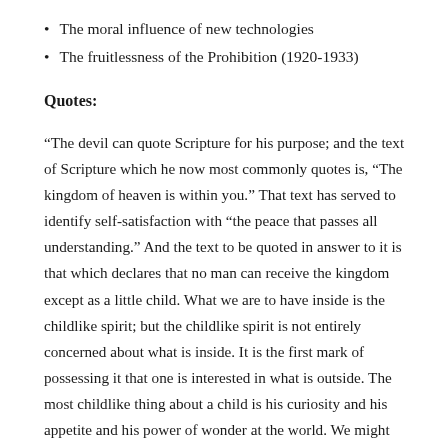The moral influence of new technologies
The fruitlessness of the Prohibition (1920-1933)
Quotes:
“The devil can quote Scripture for his purpose; and the text of Scripture which he now most commonly quotes is, “The kingdom of heaven is within you.” That text has served to identify self-satisfaction with “the peace that passes all understanding.” And the text to be quoted in answer to it is that which declares that no man can receive the kingdom except as a little child. What we are to have inside is the childlike spirit; but the childlike spirit is not entirely concerned about what is inside. It is the first mark of possessing it that one is interested in what is outside. The most childlike thing about a child is his curiosity and his appetite and his power of wonder at the world. We might almost say that the whole advantage of having the kingdom within is that we look for it somewhere else.” (p. 279)